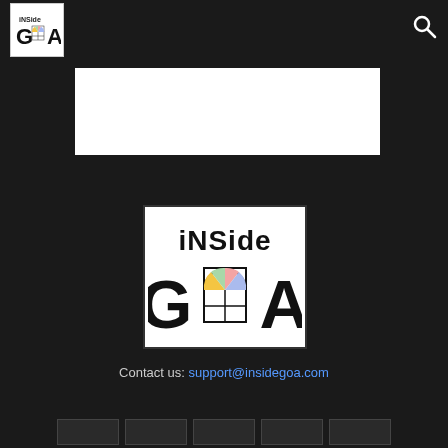Inside Goa - header navigation bar with logo and search icon
[Figure (logo): White banner/advertisement area]
[Figure (logo): Inside Goa logo: text 'iNSide GOA' with stained glass window illustration in the O, colorful panes, on white background]
Contact us: support@insidegoa.com
Footer strip with tab icons